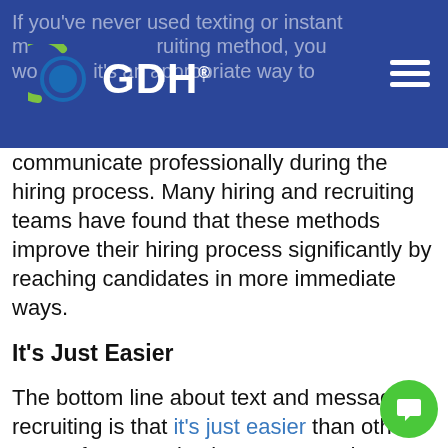[Figure (logo): GDH company logo with circular icon on blue navigation bar background]
If you've never used texting or instant messaging as a recruiting method, you may wonder if it's an appropriate way to communicate professionally during the hiring process. Many hiring and recruiting teams have found that these methods improve their hiring process significantly by reaching candidates in more immediate ways.
It's Just Easier
The bottom line about text and message recruiting is that it's just easier than other ways of communicating. Compared to making a phone call or composing an email, texting and messaging take much less time for job applicants or passive candidates.